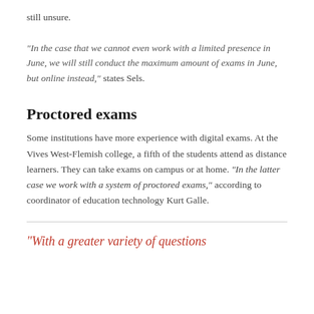still unsure.
“In the case that we cannot even work with a limited presence in June, we will still conduct the maximum amount of exams in June, but online instead,” states Sels.
Proctored exams
Some institutions have more experience with digital exams. At the Vives West-Flemish college, a fifth of the students attend as distance learners. They can take exams on campus or at home. “In the latter case we work with a system of proctored exams,” according to coordinator of education technology Kurt Galle.
“With a greater variety of questions